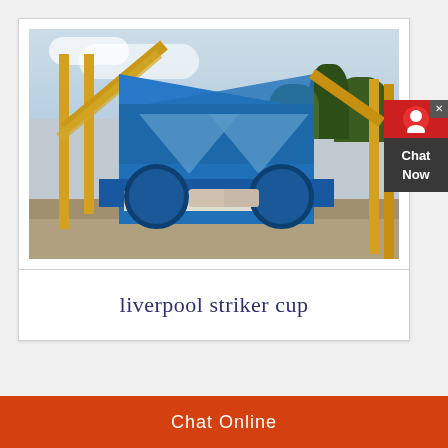[Figure (photo): Industrial mining/crushing machine with blue body, yellow conveyor belts and frame, set outdoors on a construction/mining site with mountains and trees in background]
liverpool striker cup
Chat Online